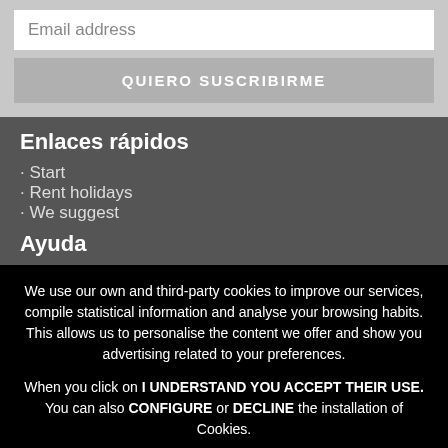Email address
QUIERO SUSCRIBIRME
Enlaces rápidos
· Start
· Rent holidays
· We suggest
Ayuda
We use our own and third-party cookies to improve our services, compile statistical information and analyse your browsing habits. This allows us to personalise the content we offer and show you advertising related to your preferences.
When you click on I UNDERSTAND YOU ACCEPT THEIR USE. You can also CONFIGURE or DECLINE the installation of Cookies.
booking@vitheamallorsa.com
Understood | Decline | Configuration | More information